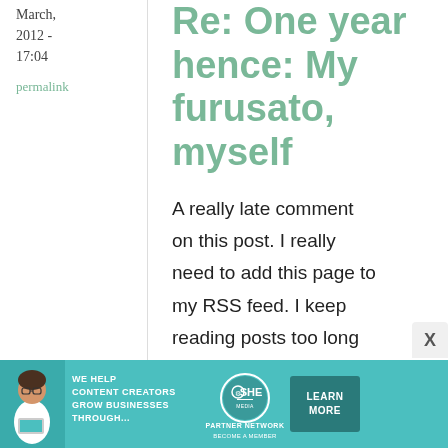March, 2012 - 17:04
permalink
Re: One year hence: My furusato, myself
A really late comment on this post. I really need to add this page to my RSS feed. I keep reading posts too long after it's gone up.
Reading your entry,
[Figure (infographic): SHE Partner Network advertisement banner with teal background, woman with laptop photo, text 'WE HELP CONTENT CREATORS GROW BUSINESSES THROUGH...', SHE logo circle, PARTNER NETWORK, BECOME A MEMBER, and LEARN MORE button]